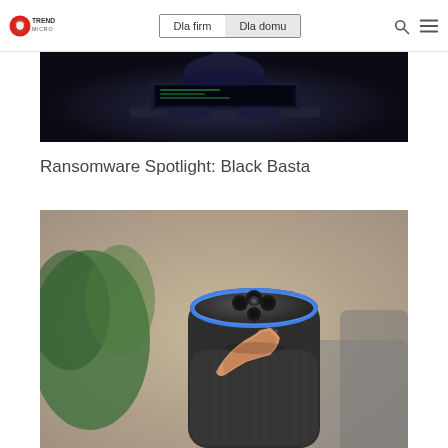Trend Micro | Dla firm | Dla domu
[Figure (photo): Dark photo of a person in dark clothing typing on a laptop keyboard in a dimly lit environment]
Ransomware Spotlight: Black Basta
[Figure (photo): Close-up photo of a person's finger pressing the top button of an Amazon Echo smart speaker with blue ring light, green plant in background]